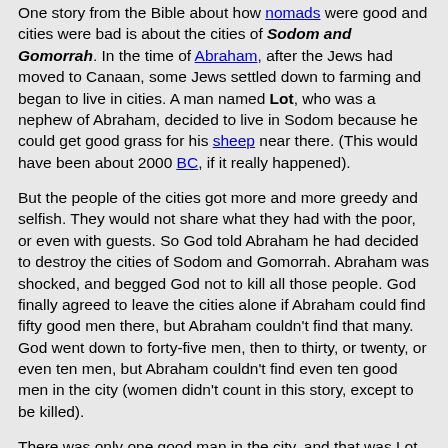One story from the Bible about how nomads were good and cities were bad is about the cities of Sodom and Gomorrah. In the time of Abraham, after the Jews had moved to Canaan, some Jews settled down to farming and began to live in cities. A man named Lot, who was a nephew of Abraham, decided to live in Sodom because he could get good grass for his sheep near there. (This would have been about 2000 BC, if it really happened).
But the people of the cities got more and more greedy and selfish. They would not share what they had with the poor, or even with guests. So God told Abraham he had decided to destroy the cities of Sodom and Gomorrah. Abraham was shocked, and begged God not to kill all those people. God finally agreed to leave the cities alone if Abraham could find fifty good men there, but Abraham couldn't find that many. God went down to forty-five men, then to thirty, or twenty, or even ten men, but Abraham couldn't find even ten good men in the city (women didn't count in this story, except to be killed).
There was only one good man in the city, and that was Lot. So God decided to destroy Sodom and Gomorrah, but he agreed to save Lot. God sent two angels in disguise to warn Lot to leave town, but that night when the angels were in Lot's house, the bad men of Sodom came to Lot's house and demanded that Lot turn his visitors over to them, so the bad men could torture them. Lot wouldn't do it, because a good man never mistreats a guest.